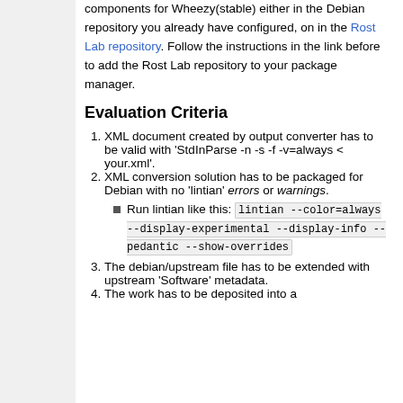You will find a version of your PreMake Tools components for Wheezy(stable) either in the Debian repository you already have configured, on in the Rost Lab repository. Follow the instructions in the link before to add the Rost Lab repository to your package manager.
Evaluation Criteria
XML document created by output converter has to be valid with 'StdInParse -n -s -f -v=always < your.xml'.
XML conversion solution has to be packaged for Debian with no 'lintian' errors or warnings.
Run lintian like this: lintian --color=always --display-experimental --display-info --pedantic --show-overrides
The debian/upstream file has to be extended with upstream 'Software' metadata.
The work has to be deposited into a